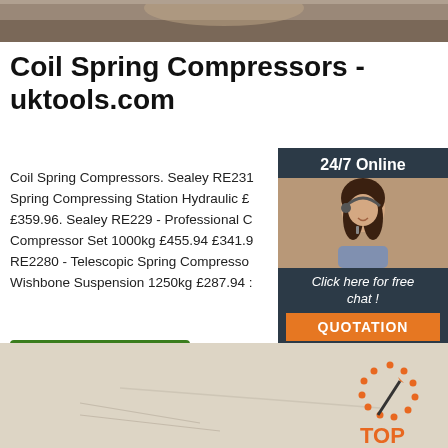[Figure (photo): Top portion of a photo, appears to be mechanical/automotive equipment]
Coil Spring Compressors - uktools.com
Coil Spring Compressors. Sealey RE231 Spring Compressing Station Hydraulic £ £359.96. Sealey RE229 - Professional C Compressor Set 1000kg £455.94 £341.9 RE2280 - Telescopic Spring Compressor Wishbone Suspension 1250kg £287.94 :
[Figure (photo): 24/7 Online chat widget with a woman wearing a headset, dark background with quotation button]
[Figure (photo): Button: Get Price - green rectangle]
[Figure (photo): Bottom photo - appears to be paper/document surface with TOP logo watermark in orange]